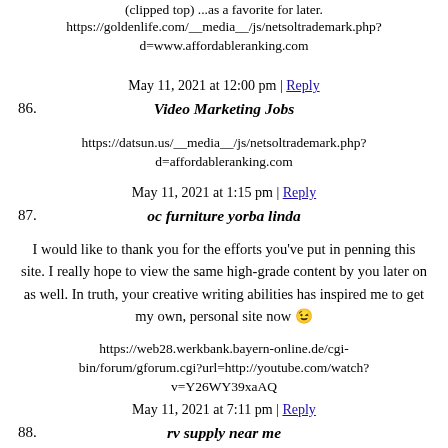https://goldenlife.com/__media__/js/netsoltrademark.php?d=www.affordableranking.com
May 11, 2021 at 12:00 pm | Reply
86. Video Marketing Jobs
https://datsun.us/__media__/js/netsoltrademark.php?d=affordableranking.com
May 11, 2021 at 1:15 pm | Reply
87. oc furniture yorba linda
I would like to thank you for the efforts you've put in penning this site. I really hope to view the same high-grade content by you later on as well. In truth, your creative writing abilities has inspired me to get my own, personal site now 😉
https://web28.werkbank.bayern-online.de/cgi-bin/forum/gforum.cgi?url=http://youtube.com/watch?v=Y26WY39xaAQ
May 11, 2021 at 7:11 pm | Reply
88. rv supply near me